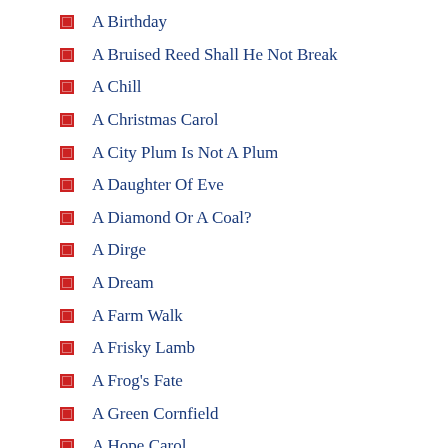A Birthday
A Bruised Reed Shall He Not Break
A Chill
A Christmas Carol
A City Plum Is Not A Plum
A Daughter Of Eve
A Diamond Or A Coal?
A Dirge
A Dream
A Farm Walk
A Frisky Lamb
A Frog's Fate
A Green Cornfield
A Hope Carol
A House Of Cards
A Linnet In A Gilded Cage